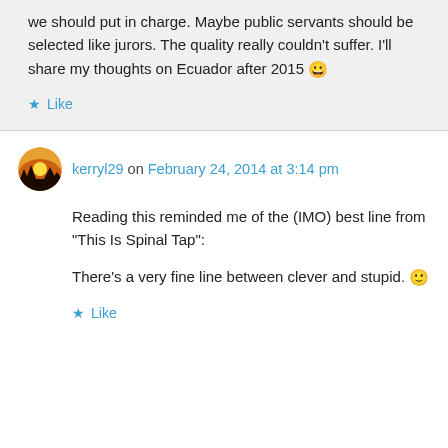we should put in charge. Maybe public servants should be selected like jurors. The quality really couldn't suffer. I'll share my thoughts on Ecuador after 2015 😀
★ Like
kerryl29 on February 24, 2014 at 3:14 pm
Reading this reminded me of the (IMO) best line from "This Is Spinal Tap":
There's a very fine line between clever and stupid. 🙂
★ Like